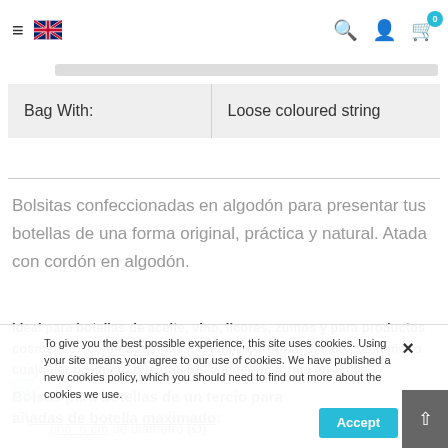≡ [UK flag] [search] [user] [cart 0]
| Bag With: | Loose coloured string |
| --- | --- |
Bolsitas confeccionadas en algodón para presentar tus botellas de una forma original, práctica y natural. Atada con cordón en algodón.
Ideal para botellas de aceite, vino, licores, zumos y para productos cosméticos como fragancias, cremas corporales, sales de baño, o cualquier producto que quieres vender de forma atractiva.
Bolsas para botellas de un tercio para añadas de botella maximado:
cho: 6 cm de diámetro (Ø).
To give you the best possible experience, this site uses cookies. Using your site means your agree to our use of cookies. We have published a new cookies policy, which you should need to find out more about the cookies we use.